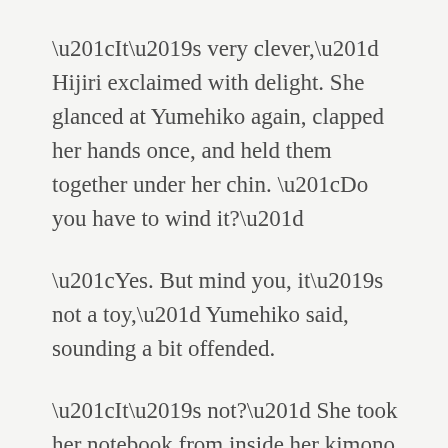“It’s very clever,” Hijiri exclaimed with delight. She glanced at Yumehiko again, clapped her hands once, and held them together under her chin. “Do you have to wind it?”
“Yes. But mind you, it’s not a toy,” Yumehiko said, sounding a bit offended.
“It’s not?” She took her notebook from inside her kimono and jotted down a few things. Licking the tip of her pencil, she considered what else to write.